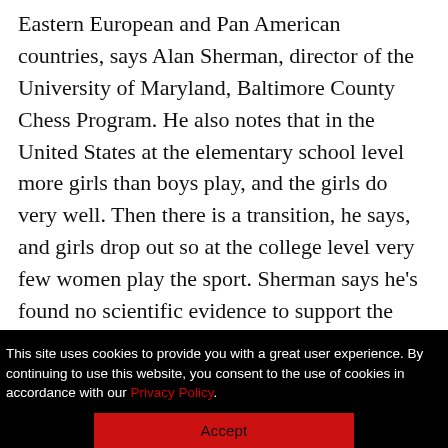Eastern European and Pan American countries, says Alan Sherman, director of the University of Maryland, Baltimore County Chess Program. He also notes that in the United States at the elementary school level more girls than boys play, and the girls do very well. Then there is a transition, he says, and girls drop out so at the college level very few women play the sport. Sherman says he's found no scientific evidence to support the idea that girls and women
This site uses cookies to provide you with a great user experience. By continuing to use this website, you consent to the use of cookies in accordance with our Privacy Policy.
Accept